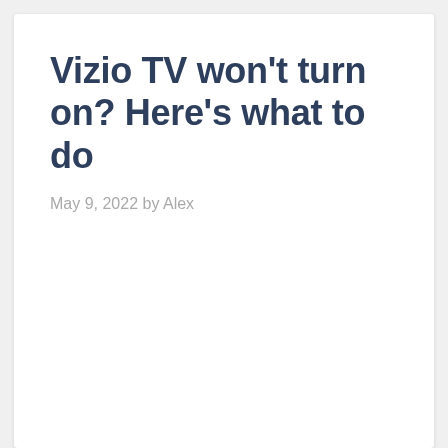Vizio TV won't turn on? Here's what to do
May 9, 2022 by Alex